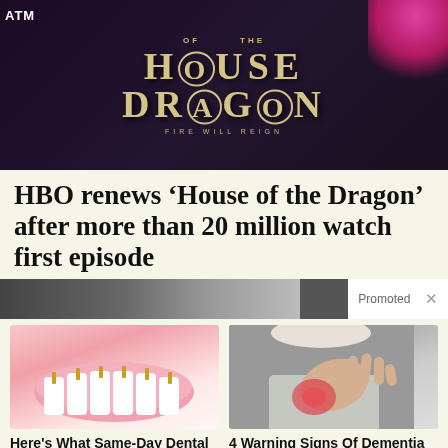[Figure (photo): HBO House of the Dragon promotional image showing the show logo on a dark background with text 'FIRE WILL REIGN']
HBO renews ‘House of the Dragon’ after more than 20 million watch first episode
[Figure (photo): Promoted ad banner showing partial view of elderly person's face]
[Figure (photo): Ad image showing dental implants illustration - pink gums with white teeth and gold screws]
Here's What Same-Day Dental Implants Should Cost
15,515
[Figure (photo): Ad image showing person holding chest with red highlight indicating heart area]
4 Warning Signs Of Dementia (#2 Is Scary)
20,497